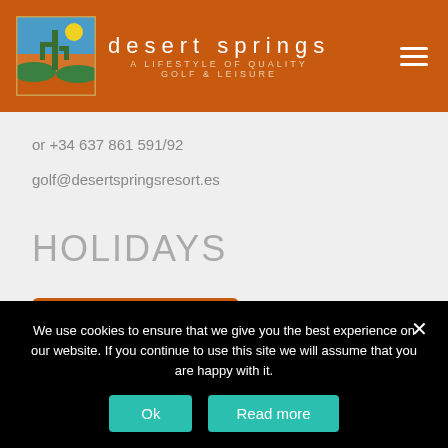desert springs — A LIFESTYLE OF QUALITY GOLF & LEISURE
or +34 637 861 591/92
golf@desertspringsresort.es
HOLIDAYS
BOOK ONLINE
We use cookies to ensure that we give you the best experience on our website. If you continue to use this site we will assume that you are happy with it.